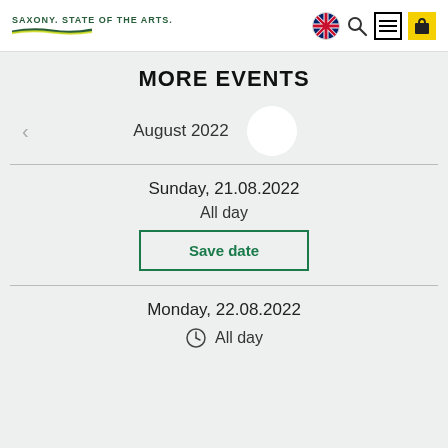SAXONY. STATE OF THE ARTS.
MORE EVENTS
August 2022
Sunday, 21.08.2022
All day
Save date
Monday, 22.08.2022
All day